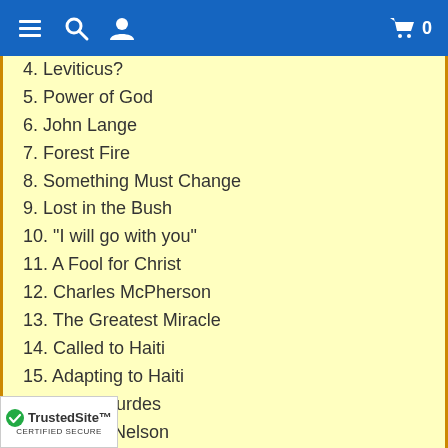Navigation header with menu, search, user, cart icons
4. Leviticus?
5. Power of God
6. John Lange
7. Forest Fire
8. Something Must Change
9. Lost in the Bush
10. "I will go with you"
11. A Fool for Christ
12. Charles McPherson
13. The Greatest Miracle
14. Called to Haiti
15. Adapting to Haiti
16. Fifty Gourdes
17. Madan Nelson
18. Traffic Violation
19. Robbed but Not Destroyed
20. La Colline Convention